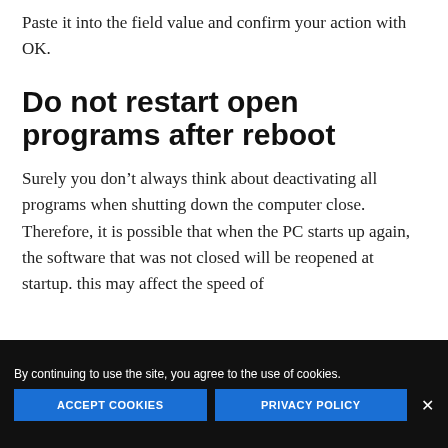Paste it into the field value and confirm your action with OK.
Do not restart open programs after reboot
Surely you don’t always think about deactivating all programs when shutting down the computer close. Therefore, it is possible that when the PC starts up again, the software that was not closed will be reopened at startup. this may affect the speed of
By continuing to use the site, you agree to the use of cookies.
ACCEPT COOKIES
PRIVACY POLICY